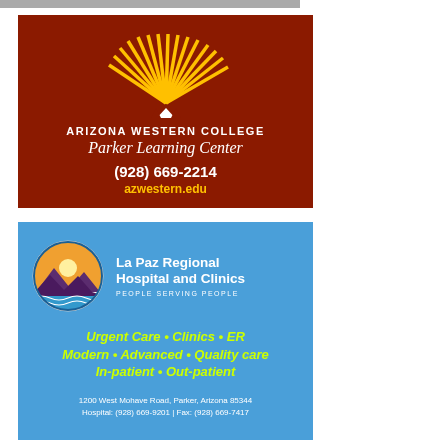[Figure (logo): Arizona Western College Parker Learning Center advertisement on dark red background with sunburst logo, phone (928) 669-2214 and azwestern.edu]
[Figure (logo): La Paz Regional Hospital and Clinics advertisement on blue background with circular mountain/sunset logo, tagline 'Urgent Care • Clinics • ER Modern • Advanced • Quality care In-patient • Out-patient', address 1200 West Mohave Road, Parker, Arizona 85344, Hospital: (928) 669-9201, Fax: (928) 669-7417]